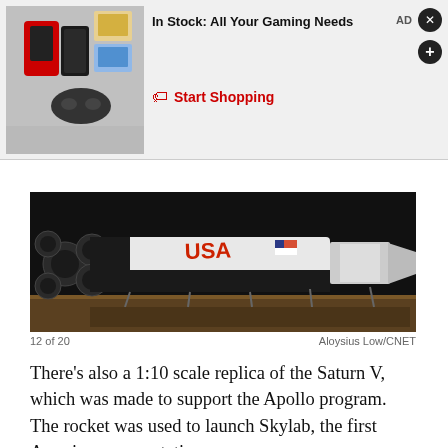[Figure (other): Advertisement banner: gaming consoles and peripherals image on left, text 'In Stock: All Your Gaming Needs' with 'Start Shopping' CTA in red, AD label and close/plus buttons on right]
[Figure (photo): A 1:10 scale replica of the Saturn V rocket displayed horizontally on a platform in a dark museum setting, showing the engine cluster end on the left and the upper stages extending to the right. NASA markings visible.]
12 of 20
Aloysius Low/CNET
There's also a 1:10 scale replica of the Saturn V, which was made to support the Apollo program. The rocket was used to launch Skylab, the first American space station, as